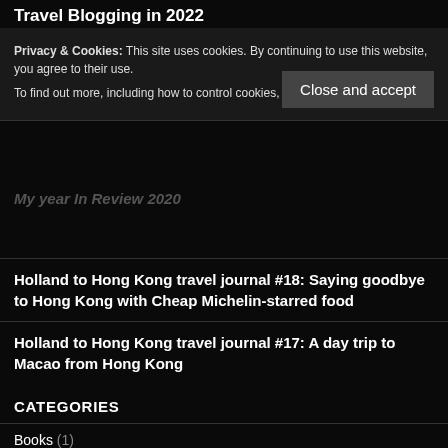Travel Blogging in 2022
Privacy & Cookies: This site uses cookies. By continuing to use this website, you agree to their use.
To find out more, including how to control cookies, see here: Cookie Policy
Close and accept
Yes ... most beautiful fortres town in the M...
My year In Review 2020
Holland to Hong Kong travel journal #18: Saying goodbye to Hong Kong with Cheap Michelin-starred food
Holland to Hong Kong travel journal #17: A day trip to Macao from Hong Kong
CATEGORIES
Books (1)
Destinations (48)
Africa (1)
Morocco (1)